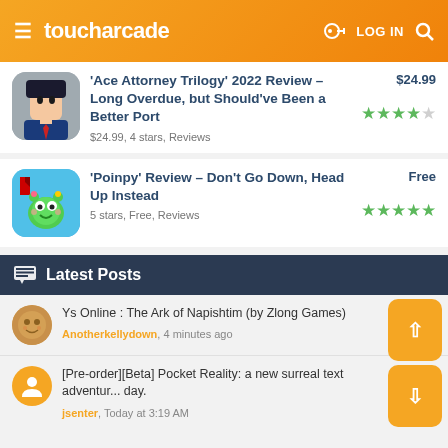toucharcade  LOG IN
'Ace Attorney Trilogy' 2022 Review – Long Overdue, but Should've Been a Better Port
$24.99, 4 stars, Reviews
'Poinpy' Review – Don't Go Down, Head Up Instead
5 stars, Free, Reviews
Latest Posts
Ys Online : The Ark of Napishtim (by Zlong Games)
Anotherkellydown, 4 minutes ago
[Pre-order][Beta] Pocket Reality: a new surreal text adventure... day.
jsenter, Today at 3:19 AM